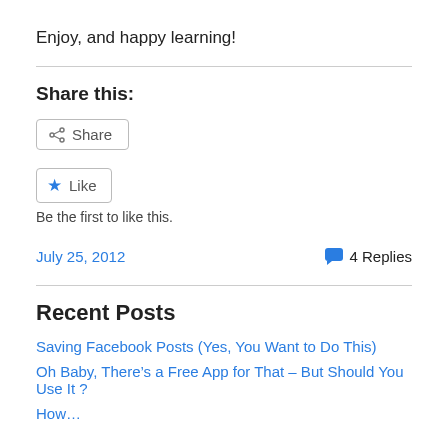Enjoy, and happy learning!
Share this:
[Figure (screenshot): Share button with share icon]
[Figure (screenshot): Like button with blue star icon, and text 'Be the first to like this.']
July 25, 2012   💬 4 Replies
Recent Posts
Saving Facebook Posts (Yes, You Want to Do This)
Oh Baby, There's a Free App for That – But Should You Use It ?
How…